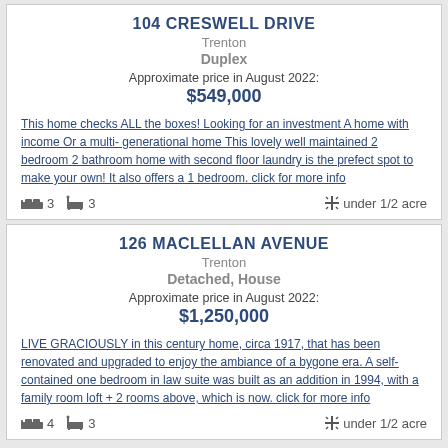104 CRESWELL DRIVE
Trenton
Duplex
Approximate price in August 2022:
$549,000
This home checks ALL the boxes! Looking for an investment A home with income Or a multi- generational home This lovely well maintained 2 bedroom 2 bathroom home with second floor laundry is the prefect spot to make your own! It also offers a 1 bedroom. click for more info
3 beds, 3 baths, under 1/2 acre
126 MACLELLAN AVENUE
Trenton
Detached, House
Approximate price in August 2022:
$1,250,000
LIVE GRACIOUSLY in this century home, circa 1917, that has been renovated and upgraded to enjoy the ambiance of a bygone era. A self-contained one bedroom in law suite was built as an addition in 1994, with a family room loft + 2 rooms above, which is now. click for more info
4 beds, 3 baths, under 1/2 acre